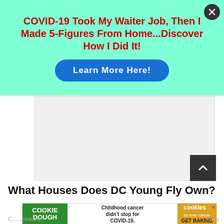[Figure (infographic): Advertisement banner with mint/turquoise background. Contains a close (X) button in the top right corner.]
COVID-19 Took My Waiter Job, Then I Made 5-Figures From Home...Discover How I Did It!
Learn More Here!
[Figure (photo): Light gray placeholder image area in the center of the page.]
What Houses Does DC Young Fly Own?
[Figure (infographic): Cookie Dough advertisement banner. Left section is green with 'COOKIE DOUGH' text in white. Middle section says 'Childhood cancer didn’t stop for COVID-19.' Right section is orange/yellow with 'cookies for kids cancer GET BAKING' text. Small X close button in top right.]
resume th... ...linary